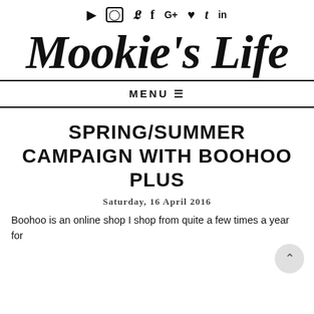▶ ○ ✦ f G+ ♥ t in
Mookie's Life
MENU ≡
SPRING/SUMMER CAMPAIGN WITH BOOHOO PLUS
Saturday, 16 April 2016
Boohoo is an online shop I shop from quite a few times a year for